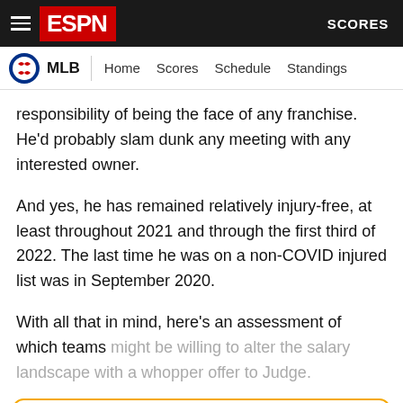ESPN - MLB - Home Scores Schedule Standings - SCORES
responsibility of being the face of any franchise. He'd probably slam dunk any meeting with any interested owner.
And yes, he has remained relatively injury-free, at least throughout 2021 and through the first third of 2022. The last time he was on a non-COVID injured list was in September 2020.
With all that in mind, here's an assessment of which teams might be willing to alter the salary landscape with a whopper offer to Judge.
[Figure (logo): ESPN+ logo with gold plus sign, inside a gold-bordered rounded box with subscription prompt text below]